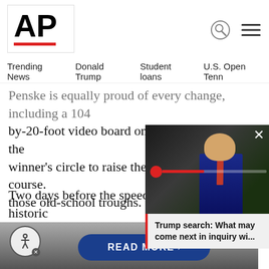AP
Trending News  Donald Trump  Student loans  U.S. Open Tenn
Penske is equally proud of every change, including a 104-by-20-foot video board on the Pagoda, a lift in the winner's circle to raise the winning car and, of course. those old-school troughs.
Two days before the speedway opened for a historic NASCAR-IndyCar doubleheader, the 83-year-old Penske was pushing a car onto the lift as he carefully checked its functionality. He went through
[Figure (photo): A photo of Donald Trump with a red dot/alert indicator, partially overlaying the article text]
Trump search: What may come next in inquiry wi...